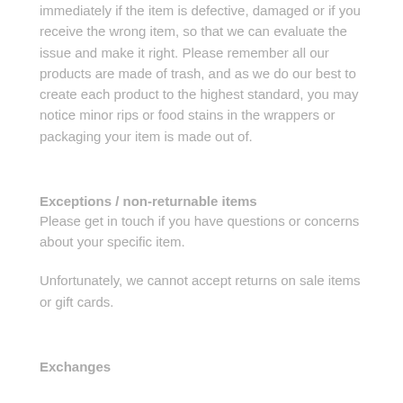immediately if the item is defective, damaged or if you receive the wrong item, so that we can evaluate the issue and make it right. Please remember all our products are made of trash, and as we do our best to create each product to the highest standard, you may notice minor rips or food stains in the wrappers or packaging your item is made out of.
Exceptions / non-returnable items
Please get in touch if you have questions or concerns about your specific item.
Unfortunately, we cannot accept returns on sale items or gift cards.
Exchanges